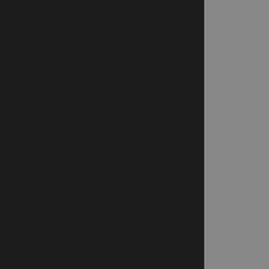[Figure (other): Black panel on the left side of the page]
[Figure (other): Gray panel in the middle of the page]
Hazratganj » Indian Call Girls Hazratganj » Call Girls Number Indian Hazratganj » Call Girl C Agent Number Hazratganj » E Hazratganj Escort Services » ( Service In Hazratganj » Callgi Photo Hazratganj » Call Girl S Mobile Number Hazratganj » I Of Call Girl Hazratganj » India Girl Hazratganj » Service Girl Hazratganj » Top Call Girl Haz Hazratganj » Indian Call Girls Sex Hazratganj » Callgirlservic Hazratganj » Call Girl India » ( To Get Call Girl Hazratganj » O Service Hazratganj » Price Of Price Call Girl Hazratganj » Ca Home Service Hazratganj » Lo Hazratganj Call Girls Number Hazratganj » Callgirl Near Me Hazratganj » Call Girl In Low P Hazratganj » Low Price Escort Call Girls Hazratganj » Escorts Hazratganj » Callgirls Hazratga Hazratganj » Call Girl Pic Haz Number Hazratganj » Hazratga Hazratganj » Escort Number H Price Hazratganj » Sex Girls H Hazratganj » Hazratganj Call ( Hazratganj » Call Girl Lowest